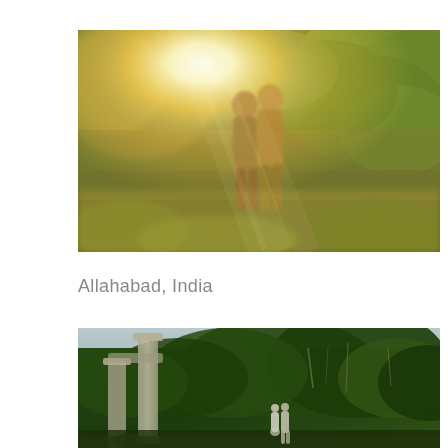[Figure (photo): A couple standing close together, nearly kissing, bathed in warm golden-yellow sunlight filtering through lush green leaves and trees in an outdoor garden setting. Bokeh, dreamy, romantic atmosphere.]
Allahabad, India
[Figure (photo): A bride in white and groom in white suit standing together in a lush green outdoor garden with large stone or concrete columns/ruins on the left and dense foliage and trees with hanging Spanish moss in the background.]